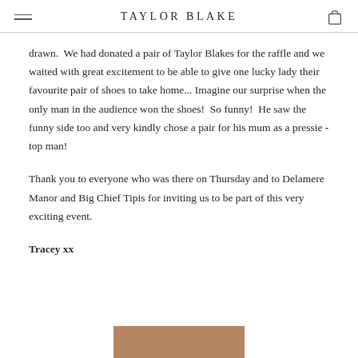TAYLOR BLAKE
drawn.  We had donated a pair of Taylor Blakes for the raffle and we waited with great excitement to be able to give one lucky lady their favourite pair of shoes to take home... Imagine our surprise when the only man in the audience won the shoes!  So funny!  He saw the funny side too and very kindly chose a pair for his mum as a pressie - top man!
Thank you to everyone who was there on Thursday and to Delamere Manor and Big Chief Tipis for inviting us to be part of this very exciting event.
Tracey xx
[Figure (photo): Partial photo strip visible at the bottom of the page]